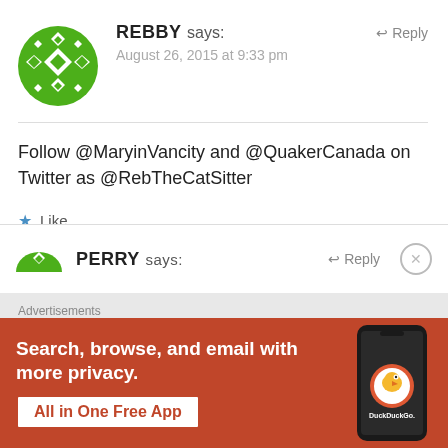[Figure (illustration): Green geometric avatar with diamond/cross pattern in a circle]
REBBY says:
August 26, 2015 at 9:33 pm
Reply
Follow @MaryinVancity and @QuakerCanada on Twitter as @RebTheCatSitter
Like
[Figure (illustration): Green avatar (partial, bottom half visible) for next commenter PERRY]
PERRY says:
Reply
Advertisements
[Figure (illustration): DuckDuckGo advertisement banner on orange/red background with phone mockup showing DuckDuckGo app. Text: Search, browse, and email with more privacy. All in One Free App. DuckDuckGo.]